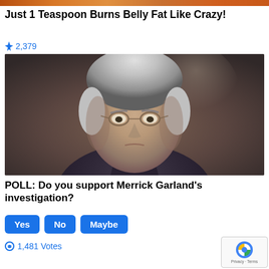[Figure (photo): Partial top image of food/orange background, cropped]
Just 1 Teaspoon Burns Belly Fat Like Crazy!
🔥 2,379
[Figure (photo): Photo of Merrick Garland, an older man with gray hair and glasses, wearing a dark suit, looking upward with a serious expression]
POLL: Do you support Merrick Garland's investigation?
Yes  No  Maybe
🔄 1,481 Votes